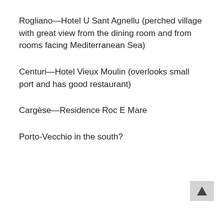Rogliano—Hotel U Sant Agnellu (perched village with great view from the dining room and from rooms facing Mediterranean Sea)
Centuri—Hotel Vieux Moulin (overlooks small port and has good restaurant)
Cargèse—Residence Roc E Mare
Porto-Vecchio in the south?